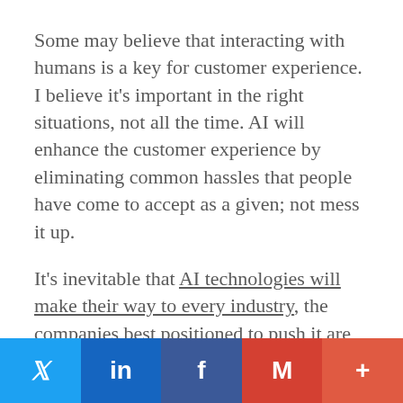Some may believe that interacting with humans is a key for customer experience. I believe it's important in the right situations, not all the time. AI will enhance the customer experience by eliminating common hassles that people have come to accept as a given; not mess it up.
It's inevitable that AI technologies will make their way to every industry, the companies best positioned to push it are the big ones like Microsoft, Google and Amazon; established business take note.
Reset people's expectations
[Figure (infographic): Social sharing bar with Twitter, LinkedIn, Facebook, Gmail, and more buttons]